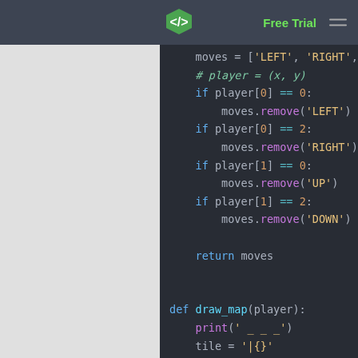Free Trial
[Figure (screenshot): Python code snippet showing valid_moves function and start of draw_map function with syntax highlighting on dark background]
moves = ['LEFT', 'RIGHT', 'UP', 'D
    # player = (x, y)
    if player[0] == 0:
        moves.remove('LEFT')
    if player[0] == 2:
        moves.remove('RIGHT')
    if player[1] == 0:
        moves.remove('UP')
    if player[1] == 2:
        moves.remove('DOWN')

    return moves

def draw_map(player):
    print(' _ _ _')
    tile = '|{}'

    for idx, cell in enumerate(CELLS):
        if idx in [0, 1, 3, 4, 6, 7]: